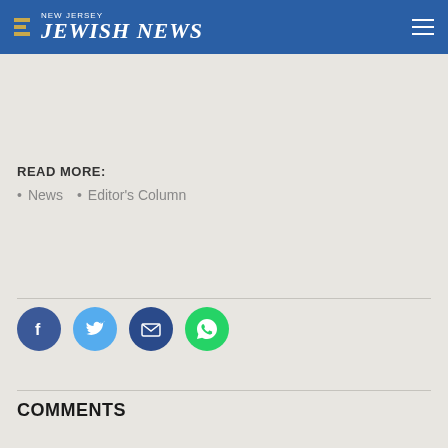NEW JERSEY JEWISH NEWS
READ MORE:
News
Editor's Column
[Figure (infographic): Social sharing icons: Facebook (blue circle with f), Twitter (light blue circle with bird), Email (dark blue circle with envelope), WhatsApp (green circle with phone/speech bubble)]
COMMENTS